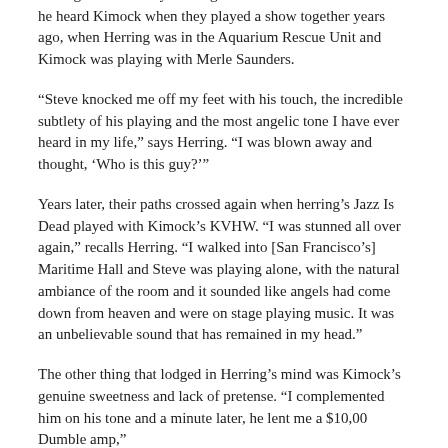them over once they experience the music is much easier. Dead guitarist Jimmy Herring still remembers the first time he heard Kimock when they played a show together years ago, when Herring was in the Aquarium Rescue Unit and Kimock was playing with Merle Saunders.
“Steve knocked me off my feet with his touch, the incredible subtlety of his playing and the most angelic tone I have ever heard in my life,” says Herring. “I was blown away and thought, ‘Who is this guy?’”
Years later, their paths crossed again when herring’s Jazz Is Dead played with Kimock’s KVHW. “I was stunned all over again,” recalls Herring. “I walked into [San Francisco’s] Maritime Hall and Steve was playing alone, with the natural ambiance of the room and it sounded like angels had come down from heaven and were on stage playing music. It was an unbelievable sound that has remained in my head.”
The other thing that lodged in Herring’s mind was Kimock’s genuine sweetness and lack of pretense. “I complemented him on his tone and a minute later, he lent me a $10,00 Dumble amp,”